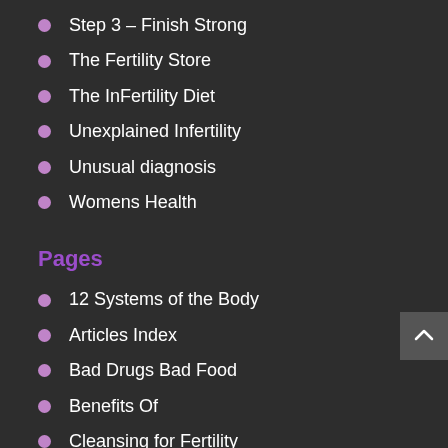Step 3 – Finish Strong
The Fertility Store
The InFertility Diet
Unexplained Infertility
Unusual diagnosis
Womens Health
Pages
12 Systems of the Body
Articles Index
Bad Drugs Bad Food
Benefits Of
Cleansing for Fertility
Estrogen Dominance
FAQs of Fertility